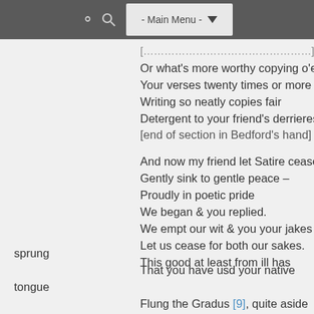- Main Menu -
Or what's more worthy copying o'er
Your verses twenty times or more
Writing so neatly copies fair
Detergent to your friend's derrieres
[end of section in Bedford's hand]

And now my friend let Satire cease
Gently sink to gentle peace –
Proudly in poetic pride
We began & you replied.
We empt our wit & you your jakes
Let us cease for both our sakes.
This good at least from ill has sprung

That you have usd your native tongue

Flung the Gradus [9], quite aside